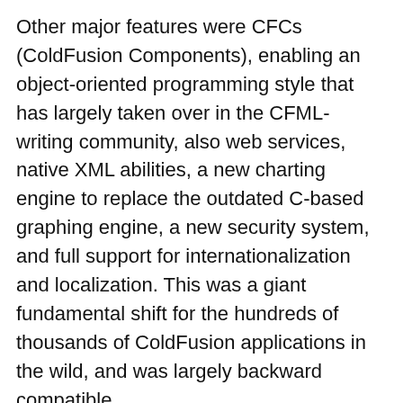Other major features were CFCs (ColdFusion Components), enabling an object-oriented programming style that has largely taken over in the CFML-writing community, also web services, native XML abilities, a new charting engine to replace the outdated C-based graphing engine, a new security system, and full support for internationalization and localization. This was a giant fundamental shift for the hundreds of thousands of ColdFusion applications in the wild, and was largely backward compatible.
Cheers to you, Macromedia employees, who pulled off an incredible technological jump, one decade ago, today. Thanks for indirectly employing me, all these years.
(0 Comments)
Good news, Donefly is back up (mostly)